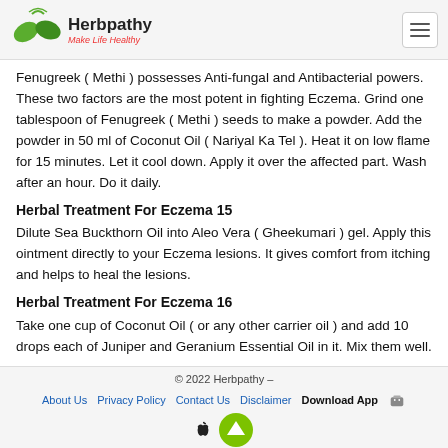Herbpathy — Make Life Healthy
Fenugreek ( Methi ) possesses Anti-fungal and Antibacterial powers. These two factors are the most potent in fighting Eczema. Grind one tablespoon of Fenugreek ( Methi ) seeds to make a powder. Add the powder in 50 ml of Coconut Oil ( Nariyal Ka Tel ). Heat it on low flame for 15 minutes. Let it cool down. Apply it over the affected part. Wash after an hour. Do it daily.
Herbal Treatment For Eczema 15
Dilute Sea Buckthorn Oil into Aleo Vera ( Gheekumari ) gel. Apply this ointment directly to your Eczema lesions. It gives comfort from itching and helps to heal the lesions.
Herbal Treatment For Eczema 16
Take one cup of Coconut Oil ( or any other carrier oil ) and add 10 drops each of Juniper and Geranium Essential Oil in it. Mix them well.
© 2022 Herbpathy – About Us  Privacy Policy  Contact Us  Disclaimer  Download App